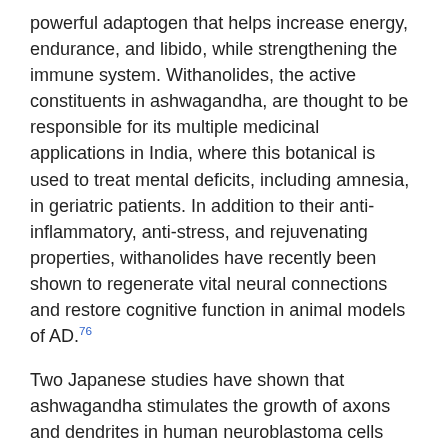powerful adaptogen that helps increase energy, endurance, and libido, while strengthening the immune system. Withanolides, the active constituents in ashwagandha, are thought to be responsible for its multiple medicinal applications in India, where this botanical is used to treat mental deficits, including amnesia, in geriatric patients. In addition to their anti-inflammatory, anti-stress, and rejuvenating properties, withanolides have recently been shown to regenerate vital neural connections and restore cognitive function in animal models of AD.[76]
Two Japanese studies have shown that ashwagandha stimulates the growth of axons and dendrites in human neuroblastoma cells and rat neurons, suggesting this botanical might help compensate for and repair damaged neuronal circuits in the aging brain. In further studies, in both cultured rat neurons damaged by Abeta and mice severely cognitively-impaired due to Abeta injection, withanolide A (one of the major active constituents in Ashwagandha) caused remarkable axonal and dendritic regeneration and synaptic reconstruction,